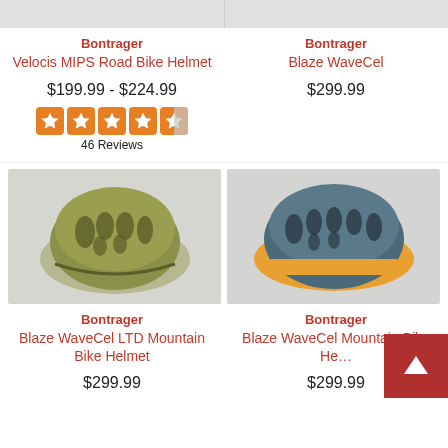[Figure (photo): Cropped top portion of Bontrager Velocis MIPS Road Bike Helmet product image]
[Figure (photo): Cropped top portion of Bontrager Blaze WaveCel product image]
Bontrager
Velocis MIPS Road Bike Helmet
$199.99 - $224.99
[Figure (other): 4.5 star rating displayed as orange stars]
46 Reviews
Bontrager
Blaze WaveCel
$299.99
[Figure (photo): Bontrager Blaze WaveCel LTD Mountain Bike Helmet in olive/green color]
[Figure (photo): Bontrager Blaze WaveCel Mountain Bike Helmet in blue/teal with yellow accent]
Bontrager
Blaze WaveCel LTD Mountain Bike Helmet
$299.99
Bontrager
Blaze WaveCel Mountain Bike He…
$299.99